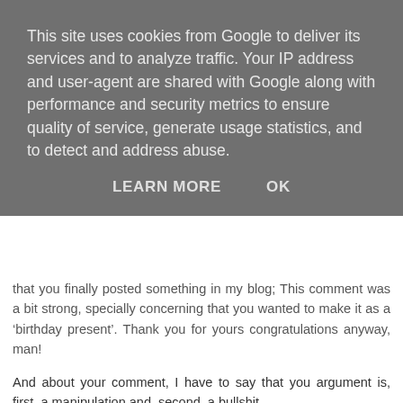This site uses cookies from Google to deliver its services and to analyze traffic. Your IP address and user-agent are shared with Google along with performance and security metrics to ensure quality of service, generate usage statistics, and to detect and address abuse.
LEARN MORE   OK
that you finally posted something in my blog; This comment was a bit strong, specially concerning that you wanted to make it as a ‘birthday present’. Thank you for yours congratulations anyway, man!
And about your comment, I have to say that you argument is, first, a manipulation and, second, a bullshit.
Is a manipulation because I did not said that Vista is the secured OS in the world, but that I feel more secure, and that is, with respect XP, of course. Your comparison with open BSD and others are, therefore, completely out of business.
And it’s bullshit because I said that I feel more secure, and